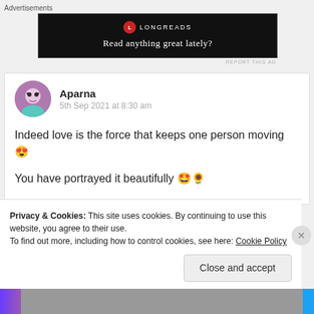Advertisements
[Figure (other): Longreads advertisement banner with black background. Logo with red circle 'L' and LONGREADS text, tagline: Read anything great lately?]
REPORT THIS AD
Aparna
5th Sep 2021 at 8:30 am
Indeed love is the force that keeps one person moving 😍
You have portrayed it beautifully 🤩🌻
Privacy & Cookies: This site uses cookies. By continuing to use this website, you agree to their use.
To find out more, including how to control cookies, see here: Cookie Policy
Close and accept